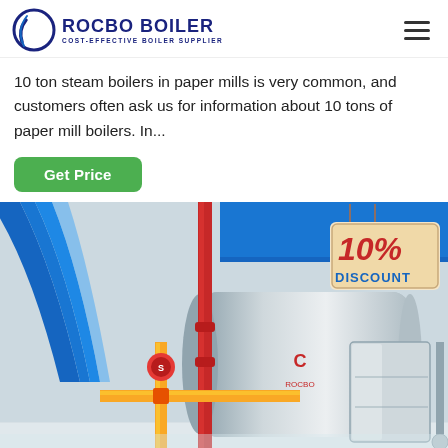ROCBO BOILER — COST-EFFECTIVE BOILER SUPPLIER
10 ton steam boilers in paper mills is very common, and customers often ask us for information about 10 tons of paper mill boilers. In...
Get Price
[Figure (photo): Industrial boiler installation in a paper mill facility showing large blue ductwork, yellow gas pipes, red fittings, and a silver cylindrical boiler with a stainless steel cabinet. A '10% DISCOUNT' sign is displayed in the top right corner.]